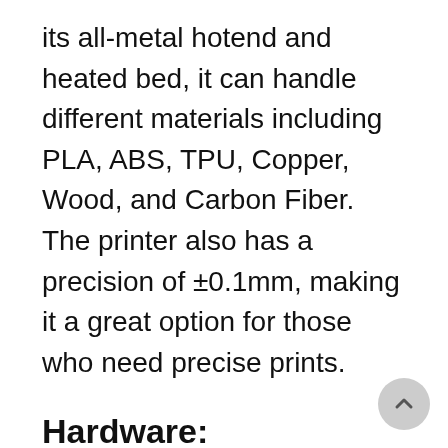its all-metal hotend and heated bed, it can handle different materials including PLA, ABS, TPU, Copper, Wood, and Carbon Fiber. The printer also has a precision of ±0.1mm, making it a great option for those who need precise prints.
Hardware:
The CR-3040 PRO uses all-aluminum alloy frame construction for durability and rigidity. The X and Y axes utilize ballscrew linear motion technology for